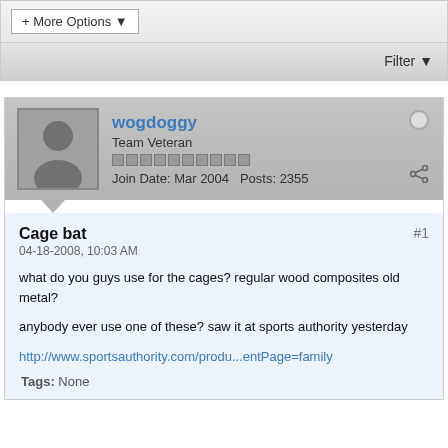+ More Options ▾
Filter ▾
wogdoggy
Team Veteran
Join Date: Mar 2004   Posts: 2355
Cage bat
#1
04-18-2008, 10:03 AM
what do you guys use for the cages? regular wood composites old metal?
anybody ever use one of these? saw it at sports authority yesterday
http://www.sportsauthority.com/produ...entPage=family
Tags: None